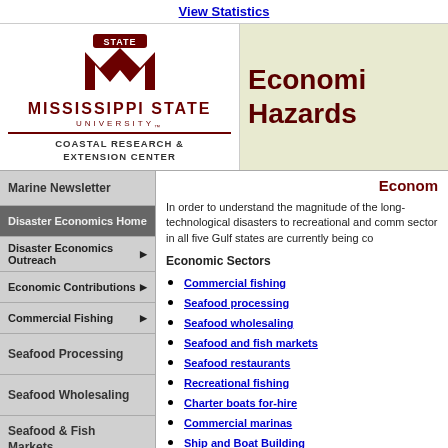View Statistics
[Figure (logo): Mississippi State University Coastal Research & Extension Center logo with block M and STATE text]
Economic Hazards
Marine Newsletter
Disaster Economics Home
Disaster Economics Outreach
Economic Contributions
Commercial Fishing
Seafood Processing
Seafood Wholesaling
Seafood & Fish Markets
Seafood Restaurants
Charter Boats For-
Econom
In order to understand the magnitude of the long- technological disasters to recreational and comm sector in all five Gulf states are currently being co
Economic Sectors
Commercial fishing
Seafood processing
Seafood wholesaling
Seafood and fish markets
Seafood restaurants
Recreational fishing
Charter boats for-hire
Commercial marinas
Ship and Boat Building